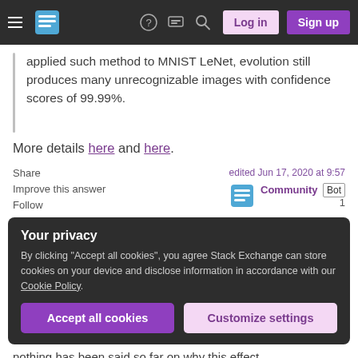Stack Exchange navigation bar with hamburger menu, logo, help, chat, search icons, Log in and Sign up buttons
applied such method to MNIST LeNet, evolution still produces many unrecognizable images with confidence scores of 99.99%.
More details here and here.
Share
Improve this answer
Follow
edited Jun 17, 2020 at 9:57
Community Bot
1
Your privacy
By clicking "Accept all cookies", you agree Stack Exchange can store cookies on your device and disclose information in accordance with our Cookie Policy.
Accept all cookies   Customize settings
nothing has been said so far on why this effect